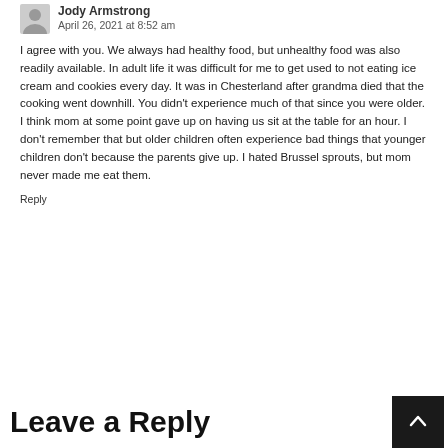Jody Armstrong
April 26, 2021 at 8:52 am
I agree with you. We always had healthy food, but unhealthy food was also readily available. In adult life it was difficult for me to get used to not eating ice cream and cookies every day. It was in Chesterland after grandma died that the cooking went downhill. You didn’t experience much of that since you were older. I think mom at some point gave up on having us sit at the table for an hour. I don’t remember that but older children often experience bad things that younger children don’t because the parents give up. I hated Brussel sprouts, but mom never made me eat them.
Reply
Leave a Reply